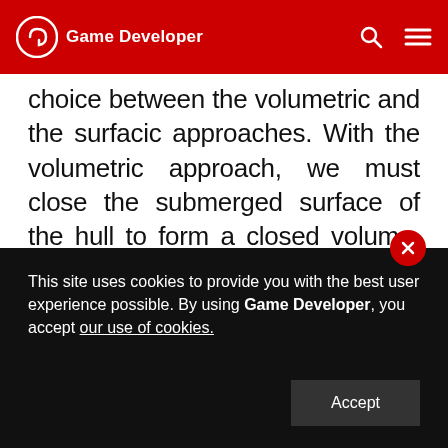Game Developer
choice between the volumetric and the surfacic approaches. With the volumetric approach, we must close the submerged surface of the hull to form a closed volume, compute its total volume and centroid, and apply the buoyancy force there. With the surfacic approach, we would calculate the hydrostatic pressure forces at each submerged surface element (triangles), and sum their linear and angular impulses around the center of gravity of the body.
This site uses cookies to provide you with the best user experience possible. By using Game Developer, you accept our use of cookies.